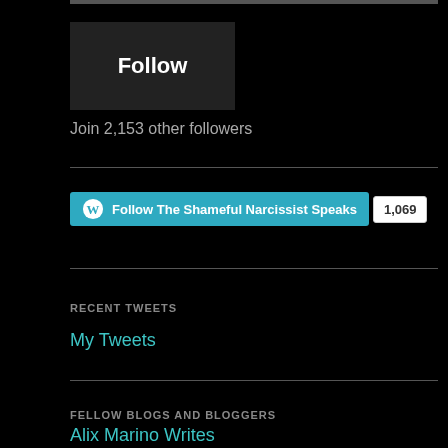[Figure (screenshot): Follow button - dark rectangular button with white text 'Follow']
Join 2,153 other followers
[Figure (screenshot): WordPress Follow button for 'The Shameful Narcissist Speaks' with teal background and follower count badge showing 1,069]
RECENT TWEETS
My Tweets
FELLOW BLOGS AND BLOGGERS
Alix Marino Writes